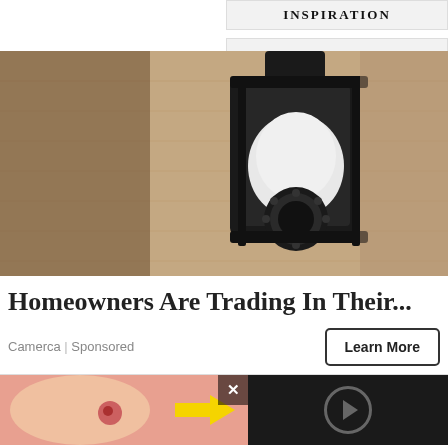[Figure (screenshot): Tag/category button labeled INSPIRATION (partially visible at top)]
[Figure (screenshot): Tag/category button labeled NARI SHAKTI PURUSKAR]
[Figure (screenshot): Tag/category button labeled NATIONAL]
Taboola Feed
[Figure (photo): Security camera mounted on exterior wall, shaped like a lantern light fixture, with a white bulb-style camera and circular LED ring at bottom]
Homeowners Are Trading In Their...
Camerca | Sponsored
[Figure (screenshot): Second advertisement row with close button (x) and video player area on dark background]